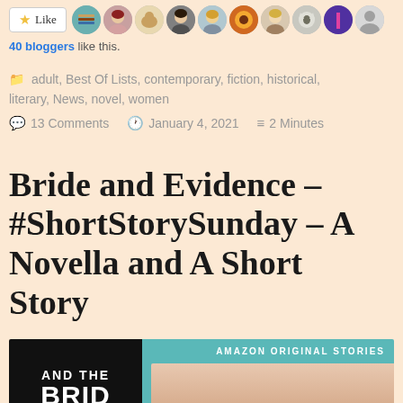[Figure (other): Like button with star icon and a row of blogger avatar profile photos]
40 bloggers like this.
adult, Best Of Lists, contemporary, fiction, historical, literary, News, novel, women
13 Comments  January 4, 2021  2 Minutes
Bride and Evidence – #ShortStorySunday – A Novella and A Short Story
[Figure (photo): Book cover image on the left showing black background with text AND THE BRIDE, and on the right a teal Amazon Original Stories cover with hands]